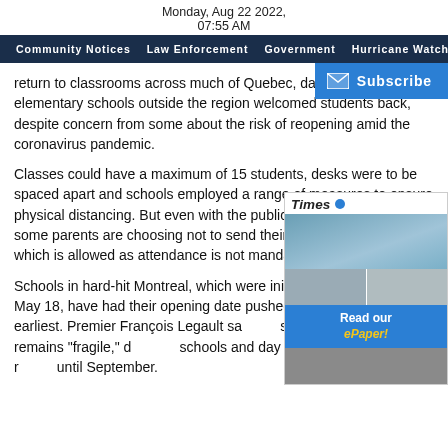Monday, Aug 22 2022, 07:55 AM
Community Notices  Law Enforcement  Government  Hurricane Watch  CO...
return to classrooms across much of Quebec, day cares and elementary schools outside the region welcomed students back, despite concern from some about the risk of reopening amid the coronavirus pandemic.
Classes could have a maximum of 15 students, desks were to be spaced apart and schools employed a range of measures to ensure physical distancing. But even with the public health measures, some parents are choosing not to send their children back to class, which is allowed as attendance is not mandatory.
Schools in hard-hit Montreal, which were initially slated to open May 18, have had their opening date pushed back to May 25 at the earliest. Premier François Legault said the situation in Montreal remains "fragile," and that schools and day cares in the Montreal region may stay closed until September.